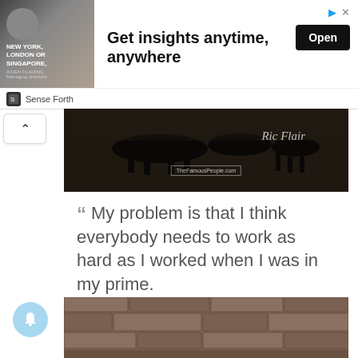[Figure (screenshot): Advertisement banner: image of man with book, text 'NEW YORK, LONDON OR SINGAPORE', headline 'Get insights anytime, anywhere', Open button, Sense Forth brand]
[Figure (photo): Dark silhouette photo with text 'Ric Flair' and 'TheFamousPeople.com' watermark]
"My problem is that I think everybody needs to work as hard as I worked when I was in my prime.

Ric Flair
[Figure (photo): Stone wall or masonry image at bottom of page]
[Figure (other): Notification bell button (blue circle with bell icon)]